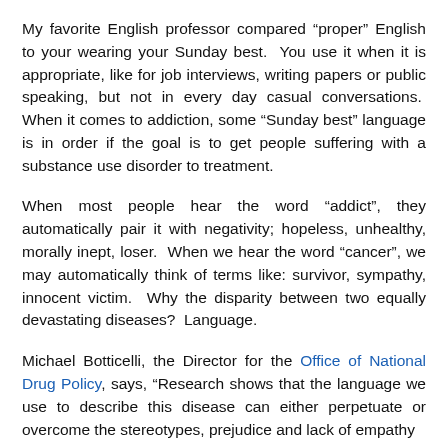My favorite English professor compared “proper” English to your wearing your Sunday best.  You use it when it is appropriate, like for job interviews, writing papers or public speaking, but not in every day casual conversations.  When it comes to addiction, some “Sunday best” language is in order if the goal is to get people suffering with a substance use disorder to treatment.
When most people hear the word “addict”, they automatically pair it with negativity; hopeless, unhealthy, morally inept, loser.  When we hear the word “cancer”, we may automatically think of terms like: survivor, sympathy, innocent victim.  Why the disparity between two equally devastating diseases?  Language.
Michael Botticelli, the Director for the Office of National Drug Policy, says, “Research shows that the language we use to describe this disease can either perpetuate or overcome the stereotypes, prejudice and lack of empathy